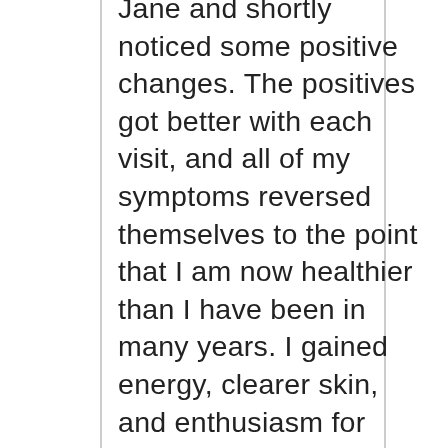Jane and shortly noticed some positive changes. The positives got better with each visit, and all of my symptoms reversed themselves to the point that I am now healthier than I have been in many years. I gained energy, clearer skin, and enthusiasm for good food. I lost weight, indigestion spells, and food cravings. More than the physical improvements, I feel a deep satisfaction knowing that I am serving my body well. I also feel much more